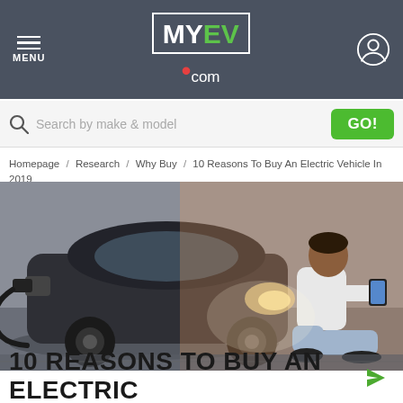MENU  MY EV .com
Search by make & model  GO!
Homepage / Research / Why Buy / 10 Reasons To Buy An Electric Vehicle In 2019
[Figure (photo): Man sitting next to an electric car being charged, looking at a smartphone. Car has charging cable plugged in.]
WHY BUY
10 REASONS TO BUY AN ELECTRIC VEHICLE IN 2019